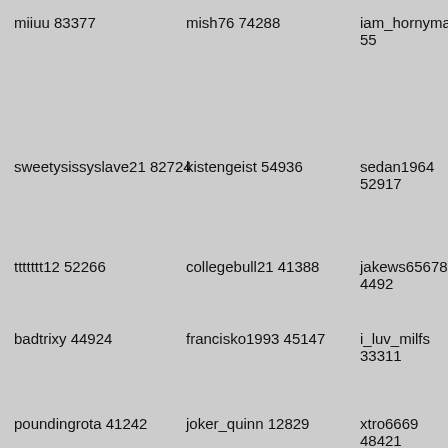miiuu 83377
mish76 74288
iam_hornyman 55
sweetysissyslave21 82724
kistengeist 54936
sedan1964 52917
ttttttt12 52266
collegebull21 41388
jakews65678 4492
badtrixy 44924
francisko1993 45147
i_luv_milfs 33311
poundingrota 41242
joker_quinn 12829
xtro6669 48421